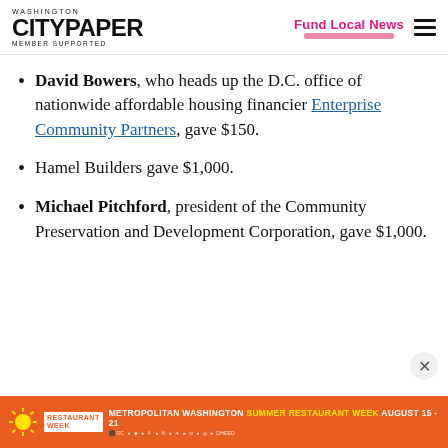Washington City Paper — Member Supported | Fund Local News
David Bowers, who heads up the D.C. office of nationwide affordable housing financier Enterprise Community Partners, gave $150.
Hamel Builders gave $1,000.
Michael Pitchford, president of the Community Preservation and Development Corporation, gave $1,000.
[Figure (other): Metropolitan Washington Summer Restaurant Week August 15-21 advertisement banner in orange with logos]